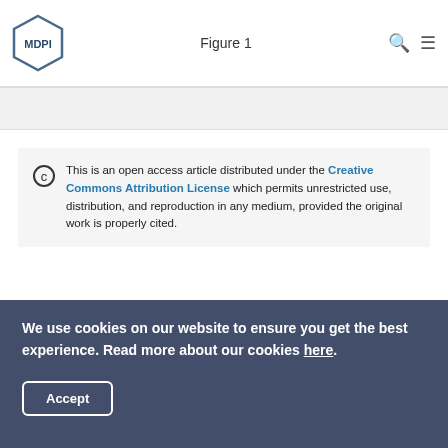Figure 1
[Figure (other): Gray figure placeholder box]
This is an open access article distributed under the Creative Commons Attribution License which permits unrestricted use, distribution, and reproduction in any medium, provided the original work is properly cited.
[Figure (other): Scifeed banner - Never Miss Any Articles Matching Your Research from Any Publisher]
We use cookies on our website to ensure you get the best experience. Read more about our cookies here.